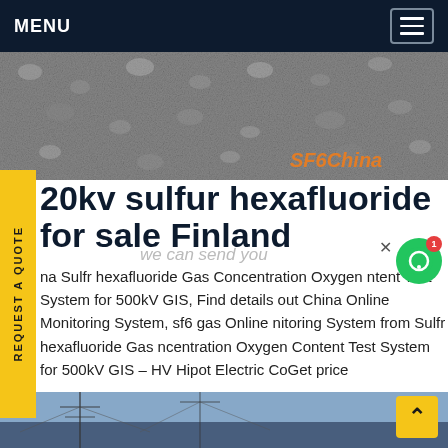MENU
[Figure (photo): Overhead photo of gravel/aggregate material with 'SF6China' watermark in orange italic text at bottom right]
20kv sulfur hexafluoride for sale Finland
na Sulfr hexafluoride Gas Concentration Oxygen ntent Test System for 500kV GIS, Find details out China Online Monitoring System, sf6 gas Online nitoring System from Sulfr hexafluoride Gas ncentration Oxygen Content Test System for 500kV GIS - HV Hipot Electric CoGet price
[Figure (photo): Bottom partial photo showing electrical transmission tower infrastructure against a blue sky]